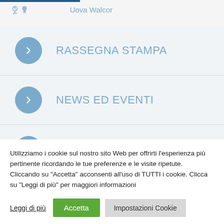Uova Walcor
RASSEGNA STAMPA
NEWS ED EVENTI
STORIE
Utilizziamo i cookie sul nostro sito Web per offrirti l'esperienza più pertinente ricordando le tue preferenze e le visite ripetute. Cliccando su "Accetta" acconsenti all'uso di TUTTI i cookie. Clicca su "Leggi di più" per maggiori informazioni
Leggi di più | Accetta | Impostazioni Cookie